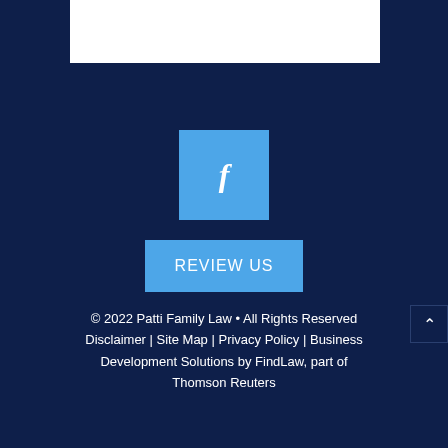[Figure (logo): White rectangle logo/image area at top center against dark navy background]
[Figure (logo): Light blue Facebook social media icon button with white 'f' letter]
[Figure (other): Light blue 'REVIEW US' button]
© 2022 Patti Family Law • All Rights Reserved Disclaimer | Site Map | Privacy Policy | Business Development Solutions by FindLaw, part of Thomson Reuters